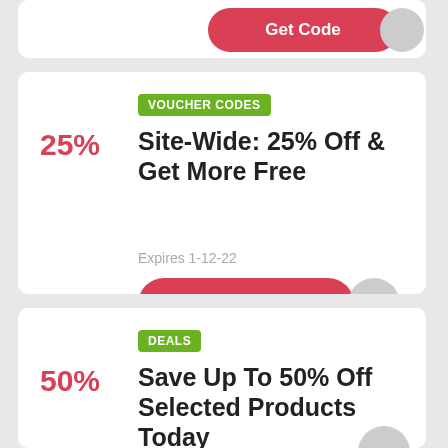[Figure (screenshot): Partial red 'Get Code' button with grey reveal circle at top]
VOUCHER CODES
Site-Wide: 25% Off & Get More Free
Expires 1-12-22
25%
Get Code
DEALS
Save Up To 50% Off Selected Products Today
Expires 30-11-22
50%
Get Deal